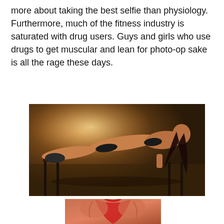more about taking the best selfie than physiology. Furthermore, much of the fitness industry is saturated with drug users. Guys and girls who use drugs to get muscular and lean for photo-op sake is all the rage these days.
[Figure (photo): A muscular woman in athletic wear performing an elevated plank/push-up position between two stools in a dramatic gym setting with warm lighting]
[Figure (photo): Close-up of a muscular person wearing a red sleeveless top, showing back and shoulder muscles]